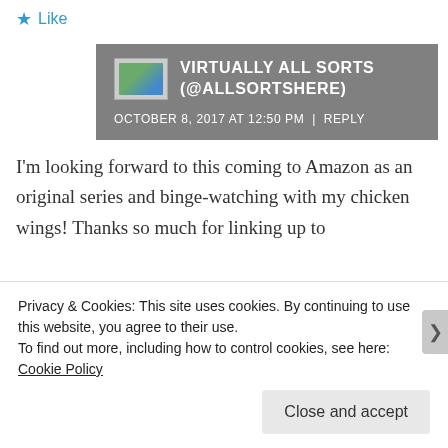★ Like
VIRTUALLY ALL SORTS (@ALLSORTSHERE)
OCTOBER 8, 2017 AT 12:50 PM | REPLY
I'm looking forward to this coming to Amazon as an original series and binge-watching with my chicken wings! Thanks so much for linking up to
Privacy & Cookies: This site uses cookies. By continuing to use this website, you agree to their use.
To find out more, including how to control cookies, see here: Cookie Policy
Close and accept